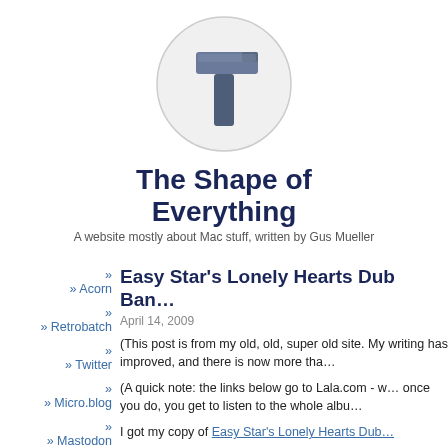[Figure (logo): Hammer icon inside a light gray circle, the logo for The Shape of Everything website]
The Shape of Everything
A website mostly about Mac stuff, written by Gus Mueller
Easy Star's Lonely Hearts Dub Ban…
April 14, 2009
(This post is from my old, old, super old site. My writing has improved, and there is now more tha…
(A quick note: the links below go to Lala.com - w… once you do, you get to listen to the whole albu…
I got my copy of Easy Star's Lonely Hearts Dub…
» Acorn
» Retrobatch
» Twitter
» Micro.blog
» Mastodon